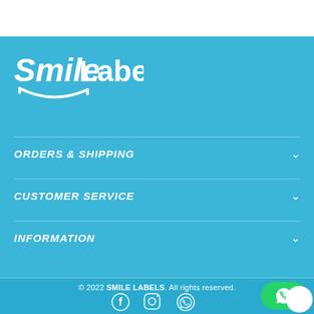[Figure (logo): SmileLabels logo — stylized italic 'Smile' with arc/smile beneath, followed by 'Labels' in bold white text]
ORDERS & SHIPPING
CUSTOMER SERVICE
INFORMATION
© 2022 SMILE LABELS. All rights reserved.
[Figure (illustration): Social media icons: Facebook, Instagram, WhatsApp]
[Figure (illustration): Green WhatsApp button with phone icon, with white circle partially overlapping]